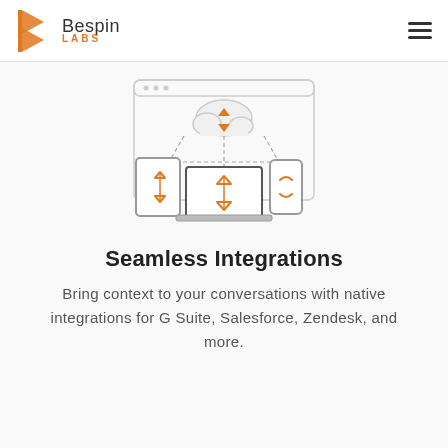Bespin LABS
[Figure (illustration): Cloud sync illustration showing a cloud with up/down arrows connected by dashed lines to a tablet, laptop, and smartphone, each showing sync arrows in orange and gray outline style.]
Seamless Integrations
Bring context to your conversations with native integrations for G Suite, Salesforce, Zendesk, and more.